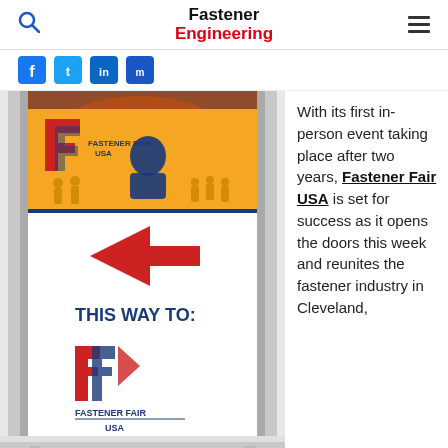Fastener Engineering
[Figure (logo): Four social media icon buttons (Facebook, Twitter, LinkedIn, etc.) in blue]
[Figure (photo): A Fastener Fair USA trade show directional sign on a chrome stand, showing the Fastener Fair USA logo at top with silhouettes of people, a red arrow pointing right, text THIS WAY TO:, and the Fastener Fair USA logo again at the bottom. Background shows a blurred orange/red element.]
With its first in-person event taking place after two years, Fastener Fair USA is set for success as it opens the doors this week and reunites the fastener industry in Cleveland,